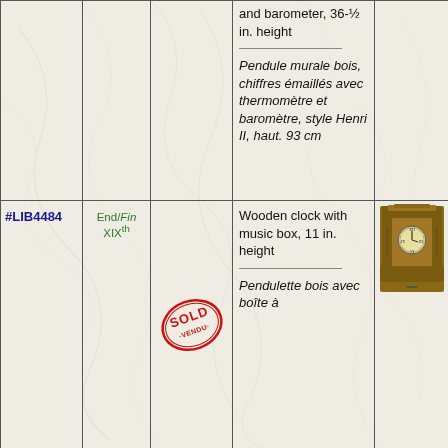| ID | Era | Status | Description | Image |
| --- | --- | --- | --- | --- |
|  |  |  | thermometer and barometer, 36-½ in. height

Pendule murale bois, chiffres émaillés avec thermomètre et baromètre, style Henri II, haut. 93 cm |  |
| #LIB4484 | End/Fin XIXth | SOLD/VENDU | Wooden clock with music box, 11 in. height

Pendulette bois avec boîte à | [image of wooden mantel clock] |